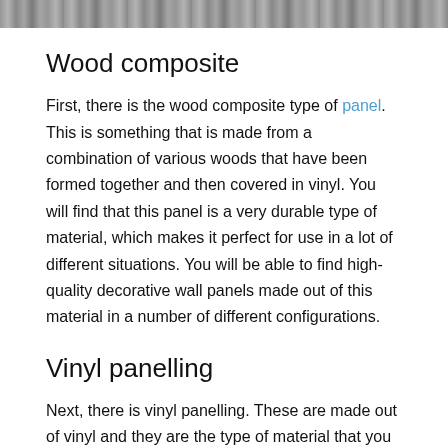[Figure (photo): Grayscale photo strip at top of page showing what appears to be a tiled or panelled surface with a person standing on it.]
Wood composite
First, there is the wood composite type of panel. This is something that is made from a combination of various woods that have been formed together and then covered in vinyl. You will find that this panel is a very durable type of material, which makes it perfect for use in a lot of different situations. You will be able to find high-quality decorative wall panels made out of this material in a number of different configurations.
Vinyl panelling
Next, there is vinyl panelling. These are made out of vinyl and they are the type of material that you will find on a majority of the exterior walls around most of the country. If